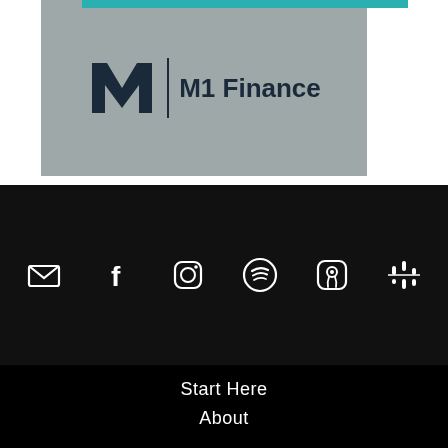[Figure (logo): M1 Finance logo with teal bar at top, dark M icon and text on grey background]
[Figure (infographic): Row of social/platform icons: email, Facebook, Instagram, Spotify, Apple Podcasts, Google Podcasts on dark background]
Start Here
About